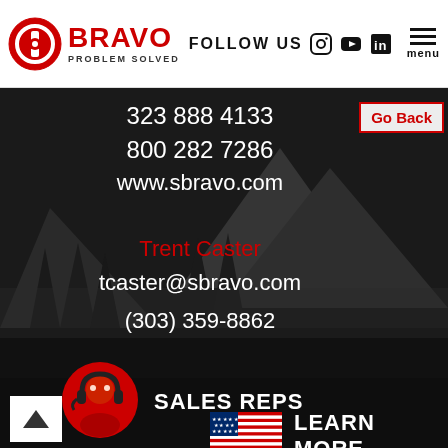Bravo Problem Solved — FOLLOW US — menu
323 888 4133
800 282 7286
www.sbravo.com
Go Back
Trent Caster
tcaster@sbravo.com
(303) 359-8862
[Figure (illustration): Red headset customer service representative icon]
SALES REPS
[Figure (illustration): American flag icon]
LEARN MORE
Back to top arrow button